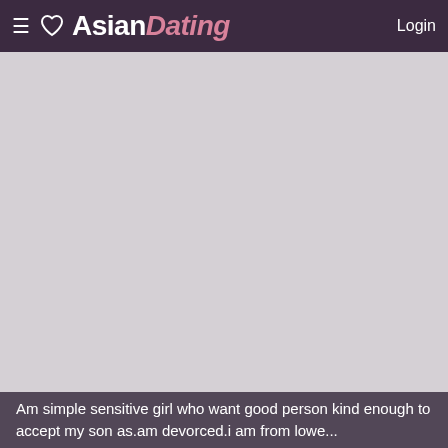≡ ♡ AsianDating Login
[Figure (photo): Large light gray placeholder/profile image area]
Am simple sensitive girl who want good person kind enough to accept my son as.am devorced.i am from lowe...